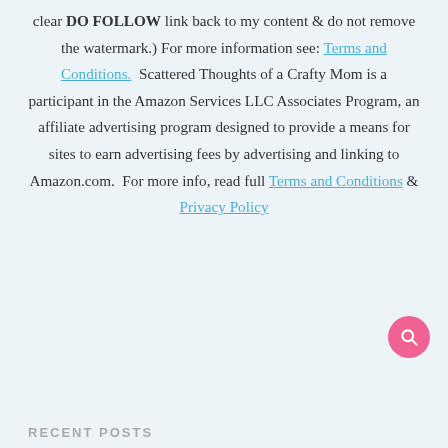clear DO FOLLOW link back to my content & do not remove the watermark.) For more information see: Terms and Conditions. Scattered Thoughts of a Crafty Mom is a participant in the Amazon Services LLC Associates Program, an affiliate advertising program designed to provide a means for sites to earn advertising fees by advertising and linking to Amazon.com. For more info, read full Terms and Conditions & Privacy Policy
[Figure (other): Pink circular search button with magnifying glass icon]
RECENT POSTS